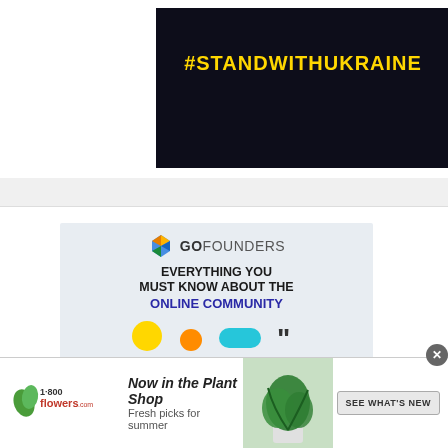[Figure (screenshot): Web page screenshot showing #STANDWITHUKRAINE banner in yellow text on dark navy background, with a small 'B' badge in corner]
[Figure (infographic): GoFounders advertisement: logo with diamond icon, text 'EVERYTHING YOU MUST KNOW ABOUT THE ONLINE COMMUNITY' with decorative icons at bottom]
[Figure (infographic): 1-800-Flowers.com advertisement banner: 'Now in the Plant Shop - Fresh picks for summer' with plant photo and 'SEE WHAT'S NEW' button, with close X button]